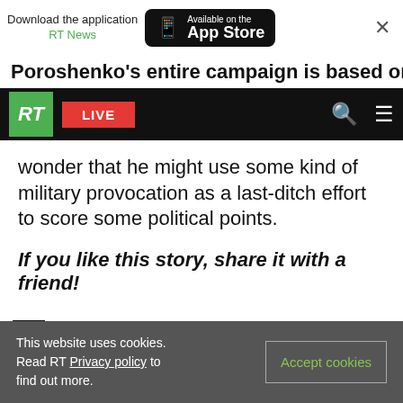[Figure (screenshot): App download banner with RT News app store button and close X]
Poroshenko's entire campaign is based on support
[Figure (screenshot): RT navigation bar with green RT logo, red LIVE button, search icon, and hamburger menu]
wonder that he might use some kind of military provocation as a last-ditch effort to score some political points.
If you like this story, share it with a friend!
# PETROPOROSHENKONEWS   UKRAINENEWS
KERCHSTRAITSTANDOFFNEWS
This website uses cookies. Read RT Privacy policy to find out more.